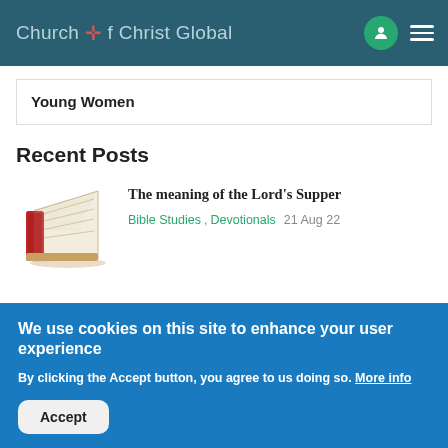Church of Christ Global
Young Women
Recent Posts
[Figure (illustration): Open book illustration with red spine and splayed pages]
The meaning of the Lord's Supper
Bible Studies , Devotionals  21 Aug 22
We use cookies on this site to enhance your user experience
By clicking the Accept button, you agree to us doing so. More info
Accept